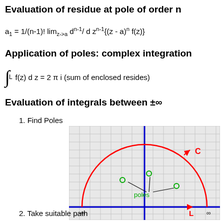Evaluation of residue at pole of order n
Application of poles: complex integration
Evaluation of integrals between ±∞
1. Find Poles
[Figure (engineering-diagram): Complex plane diagram showing a semicircular contour C (red arc) in the upper half-plane, with a horizontal line L (blue) along the real axis from -∞ to +∞, a vertical blue line (imaginary axis), a grid background, two green dots labeled 'poles' inside the contour, with arrows indicating direction of traversal along C and L.]
2. Take suitable path